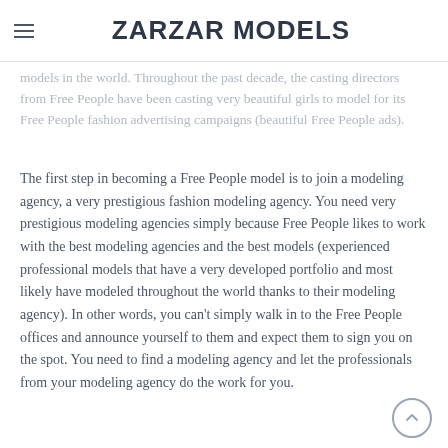ZARZAR MODELS
models in the world. Throughout the past decade, the casting directors from Free People have been casting very beautiful girls to model for its Free People fashion advertising campaigns (beautiful Free People ads).
The first step in becoming a Free People model is to join a modeling agency, a very prestigious fashion modeling agency. You need very prestigious modeling agencies simply because Free People likes to work with the best modeling agencies and the best models (experienced professional models that have a very developed portfolio and most likely have modeled throughout the world thanks to their modeling agency). In other words, you can't simply walk in to the Free People offices and announce yourself to them and expect them to sign you on the spot. You need to find a modeling agency and let the professionals from your modeling agency do the work for you.